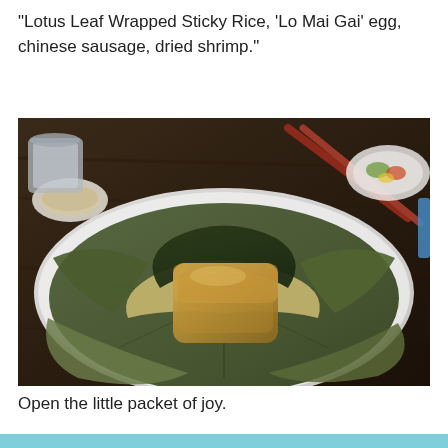"Lotus Leaf Wrapped Sticky Rice, 'Lo Mai Gai' egg, chinese sausage, dried shrimp."
[Figure (photo): A lotus leaf wrapped sticky rice parcel (Lo Mai Gai) opened and displayed on a white plate on a dark wooden table. The leaf package is unwrapped showing layers of dark green and golden-brown lotus leaves with the steamed sticky rice package inside. Red chopsticks rest at the top right. A white bowl with soup and a plate with salad are visible in the background.]
Open the little packet of joy.